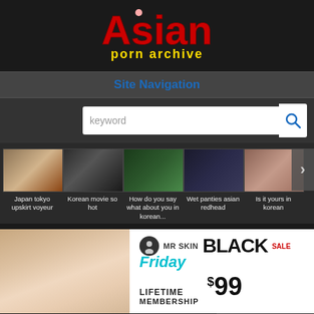[Figure (logo): Asian Porn Archive website logo with red stylized text 'Asian' and yellow text 'porn archive' below]
Site Navigation
[Figure (screenshot): Search bar with keyword placeholder and blue search icon]
[Figure (photo): Row of 5 adult content thumbnails with captions: Japan tokyo upskirt voyeur, Korean movie so hot, How do you say what about you in korean, Wet panties asian redhead, Is it yours in korean]
[Figure (photo): Mr Skin Black Friday Sale advertisement banner - Lifetime Membership $99]
Chinese pron star